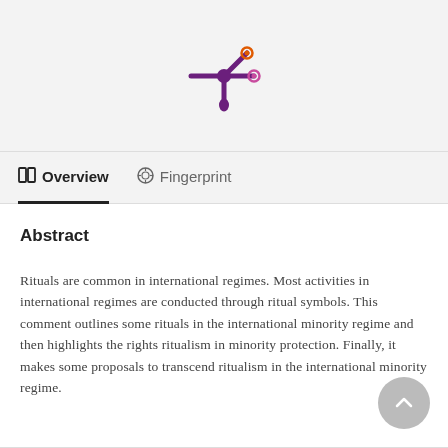[Figure (logo): ResearchGate or academic portal logo — purple asterisk/star shape with orange and pink dots at two tips]
Overview   Fingerprint
Abstract
Rituals are common in international regimes. Most activities in international regimes are conducted through ritual symbols. This comment outlines some rituals in the international minority regime and then highlights the rights ritualism in minority protection. Finally, it makes some proposals to transcend ritualism in the international minority regime.